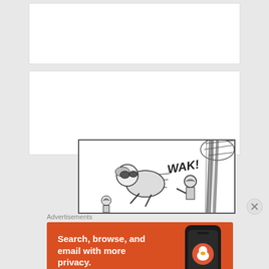[Figure (illustration): Comic strip panel showing cartoon characters with 'WAK!' sound effect text, black and white ink drawing style with action scene]
Advertisements
[Figure (infographic): DuckDuckGo advertisement banner with orange background. Text: 'Search, browse, and email with more privacy.' and 'All in One Free App' button. Shows phone mockup with DuckDuckGo logo.]